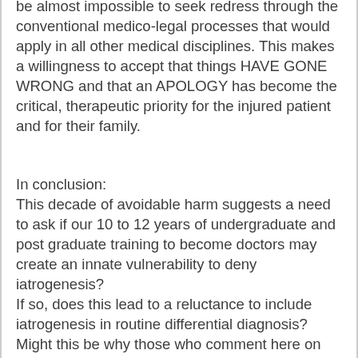be almost impossible to seek redress through the conventional medico-legal processes that would apply in all other medical disciplines. This makes a willingness to accept that things HAVE GONE WRONG and that an APOLOGY has become the critical, therapeutic priority for the injured patient and for their family.
In conclusion:
This decade of avoidable harm suggests a need to ask if our 10 to 12 years of undergraduate and post graduate training to become doctors may create an innate vulnerability to deny iatrogenesis?
If so, does this lead to a reluctance to include iatrogenesis in routine differential diagnosis?
Might this be why those who comment here on their experiences of trying to discuss